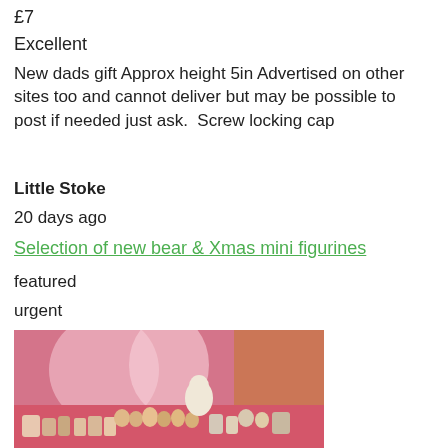£7
Excellent
New dads gift Approx height 5in Advertised on other sites too and cannot deliver but may be possible to post if needed just ask.  Screw locking cap
Little Stoke
20 days ago
Selection of new bear & Xmas mini figurines
featured
urgent
[Figure (photo): A collection of small bear and Christmas figurines arranged on a pink surface with pink curtains in the background.]